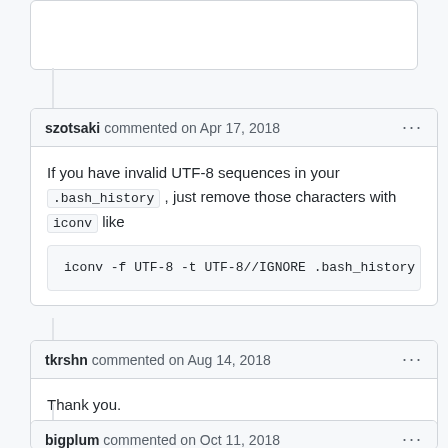szotsaki commented on Apr 17, 2018
If you have invalid UTF-8 sequences in your .bash_history , just remove those characters with iconv like
iconv -f UTF-8 -t UTF-8//IGNORE .bash_history > .ba
tkrshn commented on Aug 14, 2018
Thank you.
bigplum commented on Oct 11, 2018